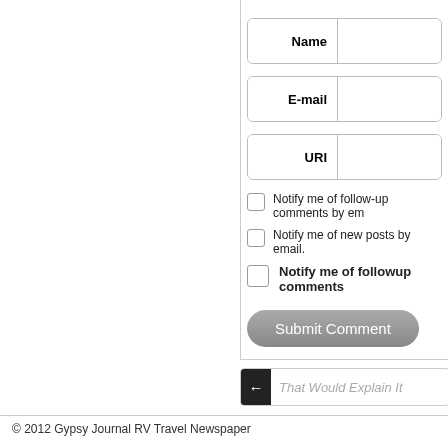Name
E-mail
URI
Notify me of follow-up comments by email.
Notify me of new posts by email.
Notify me of followup comments
Submit Comment
That Would Explain It
© 2012 Gypsy Journal RV Travel Newspaper